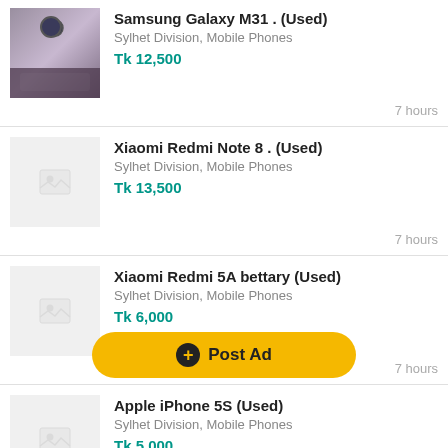Samsung Galaxy M31 . (Used)
Sylhet Division, Mobile Phones
Tk 12,500
7 hours
Xiaomi Redmi Note 8 . (Used)
Sylhet Division, Mobile Phones
Tk 13,500
7 hours
Xiaomi Redmi 5A bettary (Used)
Sylhet Division, Mobile Phones
Tk 6,000
7 hours
Apple iPhone 5S (Used)
Sylhet Division, Mobile Phones
Tk 5,000
7 hours
+ Post Ad